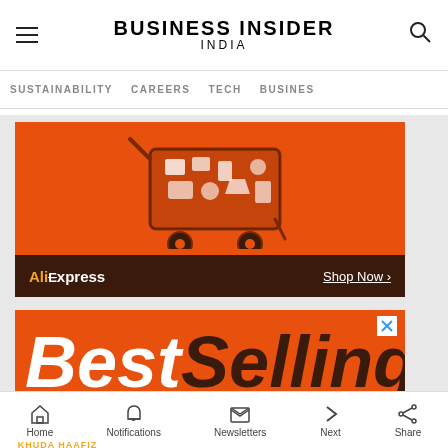BUSINESS INSIDER INDIA
SUSTAINABILITY   CAREERS   TECH   BUSINESS
[Figure (illustration): AliExpress advertisement banner showing a shopping cart with product icons on orange background with dark bottom bar showing 'AliExpress' logo and 'Shop Now >' text]
[Figure (illustration): BestSelling advertisement banner on orange background with large italic text in white and dark brown]
[Figure (illustration): ZEE5 streaming advertisement showing Khuda Haafiz movie, price $119.99 struck through, $59.99 annual pack, Subscribe Now at WWW.ZEE5.COM, available on Apple, Android, Firetv, Roku platforms]
Home   Notifications   Newsletters   Next   Share